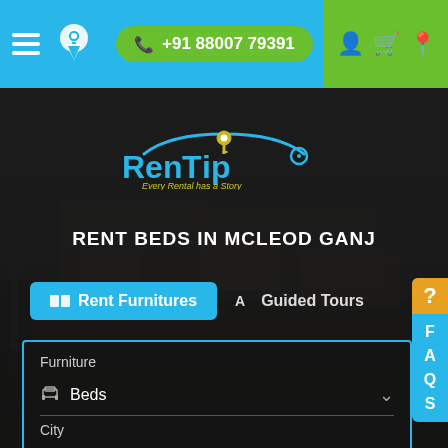[Figure (screenshot): RenTrip website header with blue navigation bar showing hamburger menu, location pin logo, phone number +91 88007 79391 on green button, and green right section with user/cart/location icons]
[Figure (logo): RenTrip logo in blue with key icon in the letter i, tagline 'Every Rental has a Story' in yellow]
RENT BEDS IN MCLEOD GANJ
[Figure (screenshot): Tab buttons: active blue 'Rent Furnitures' and inactive 'Guided Tours' with FAQ side tab]
Furniture
Beds
City
-- select --
Book at
Monthly